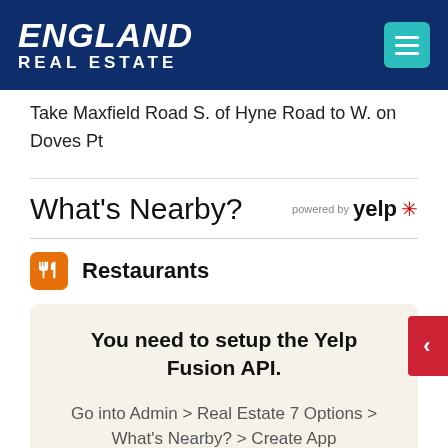ENGLAND REAL ESTATE
Take Maxfield Road S. of Hyne Road to W. on Doves Pt
What's Nearby?
Restaurants
You need to setup the Yelp Fusion API.
Go into Admin > Real Estate 7 Options > What's Nearby? > Create App